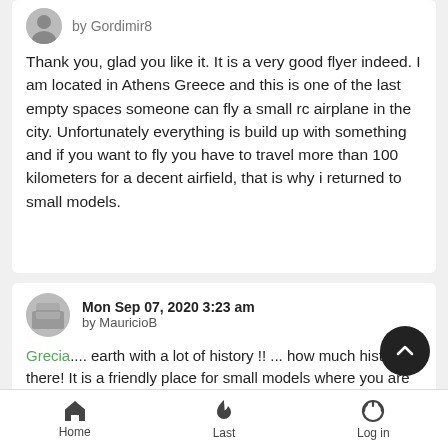by Gordimir8
Thank you, glad you like it. It is a very good flyer indeed. I am located in Athens Greece and this is one of the last empty spaces someone can fly a small rc airplane in the city. Unfortunately everything is build up with something and if you want to fly you have to travel more than 100 kilometers for a decent airfield, that is why i returned to small models.
Mon Sep 07, 2020 3:23 am
by MauricioB
Grecia.... earth with a lot of history !! ... how much history there! It is a friendly place for small models where you are flying, so I am glad that you can take advantage of it, I hope you can e that place for a long time.
Thanks for the video, it really is a cute one 😀
Home  Last  Log in